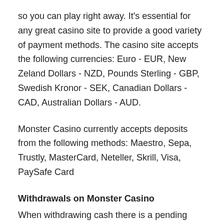so you can play right away. It's essential for any great casino site to provide a good variety of payment methods. The casino site accepts the following currencies: Euro - EUR, New Zeland Dollars - NZD, Pounds Sterling - GBP, Swedish Kronor - SEK, Canadian Dollars - CAD, Australian Dollars - AUD.
Monster Casino currently accepts deposits from the following methods: Maestro, Sepa, Trustly, MasterCard, Neteller, Skrill, Visa, PaySafe Card
Withdrawals on Monster Casino
When withdrawing cash there is a pending period, this differs between casinos Monster Casino has a pending period of 72 hours before your withdrawal is processed, during this period you can still cancel your withdrawal and have your founds released to play further. Withdrawals from Monster Casino can be made with the following methods: Skrill, Sepa, Bank Wire Transfer, Visa, Paysafe Card, Neteller, Trustly